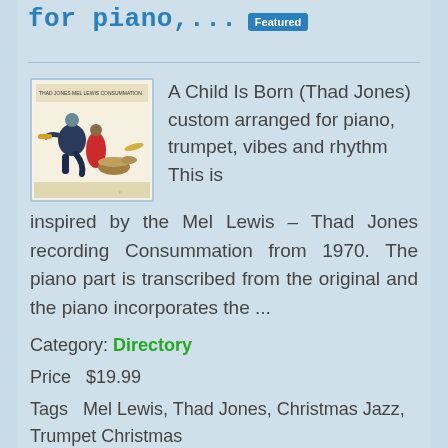for piano,... Featured
[Figure (illustration): Album cover for Thad Jones–Mel Lewis Consummation, showing illustrated jazz musicians playing instruments]
A Child Is Born (Thad Jones) custom arranged for piano, trumpet, vibes and rhythm This is inspired by the Mel Lewis – Thad Jones recording Consummation from 1970. The piano part is transcribed from the original and the piano incorporates the ...
Category: Directory
Price  $19.99
Tags  Mel Lewis, Thad Jones, Christmas Jazz, Trumpet Christmas